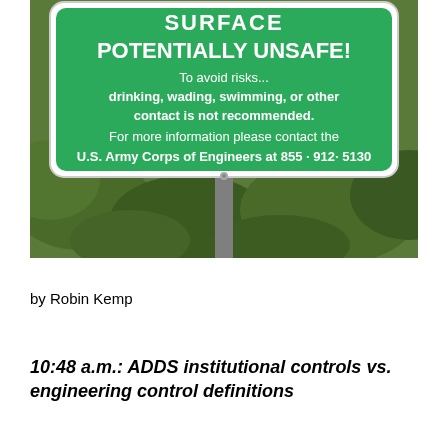[Figure (photo): Photograph of a green warning sign from the U.S. Army Corps of Engineers. The sign reads (partially cut off at top): 'SURFACE ... POTENTIALLY UNSAFE! To avoid risks... drinking, wading, swimming, or other contact is not recommended. For more information please contact the U.S. Army Corps of Engineers at 855-912-5130'. The sign is mounted on a metal post with green foliage in the background.]
by Robin Kemp
10:48 a.m.: ADDS institutional controls vs. engineering control definitions